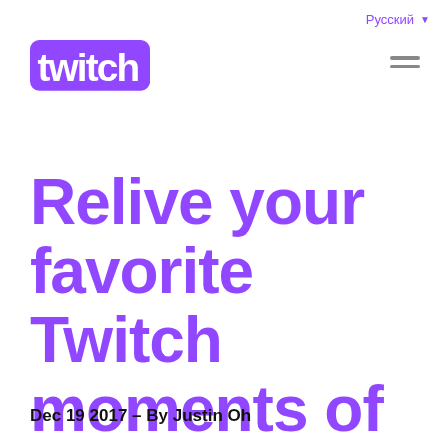Русский
[Figure (logo): Twitch logo in purple]
Relive your favorite Twitch moments of 2017
Dec 19 2017 – By Justin Oh